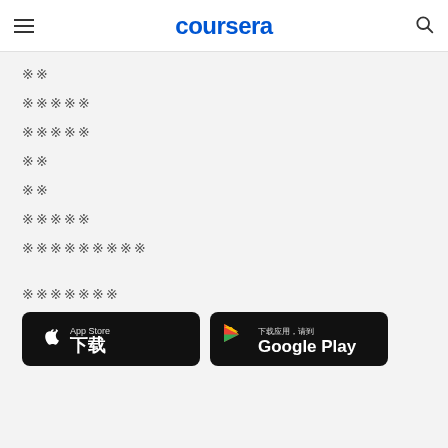coursera
🀆🀆
🀆🀆🀆🀆🀆
🀆🀆🀆🀆🀆
🀆🀆
🀆🀆
🀆🀆🀆🀆🀆
🀆🀆🀆🀆🀆🀆🀆🀆🀆
🀆🀆🀆🀆🀆🀆🀆
[Figure (screenshot): App Store download button (Apple) in Chinese]
[Figure (screenshot): Google Play download button in Chinese]